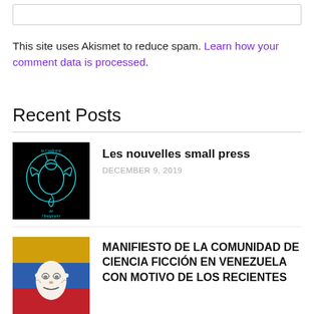This site uses Akismet to reduce spam. Learn how your comment data is processed.
Recent Posts
[Figure (illustration): Black square thumbnail with a teal/cyan dragon logo and text 'la Confrérie de l'Imaginaire']
Les nouvelles small press
DECEMBER 9, 2019
[Figure (photo): Thumbnail showing Venezuelan flag colors (yellow, blue, red) with a Guy Fawkes mask in front]
MANIFIESTO DE LA COMUNIDAD DE CIENCIA FICCIÓN EN VENEZUELA CON MOTIVO DE LOS RECIENTES